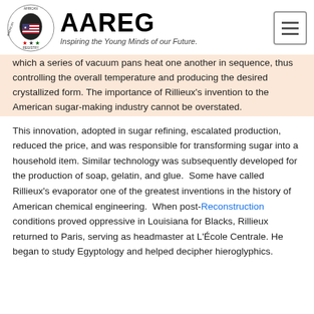AAREG — Inspiring the Young Minds of our Future.
which a series of vacuum pans heat one another in sequence, thus controlling the overall temperature and producing the desired crystallized form. The importance of Rillieux's invention to the American sugar-making industry cannot be overstated.
This innovation, adopted in sugar refining, escalated production, reduced the price, and was responsible for transforming sugar into a household item. Similar technology was subsequently developed for the production of soap, gelatin, and glue.  Some have called Rillieux's evaporator one of the greatest inventions in the history of American chemical engineering.  When post-Reconstruction conditions proved oppressive in Louisiana for Blacks, Rillieux returned to Paris, serving as headmaster at L'École Centrale. He began to study Egyptology and helped decipher hieroglyphics.